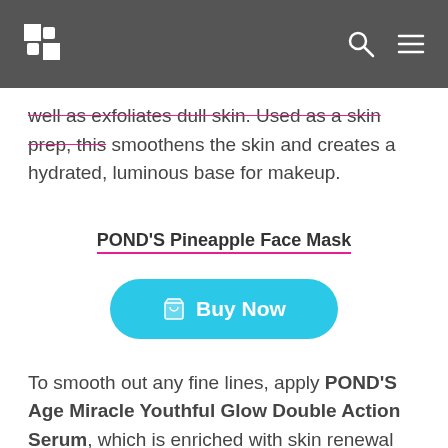Navigation bar with logo, search icon, and menu icon
well as exfoliates dull skin. Used as a skin prep, this smoothens the skin and creates a hydrated, luminous base for makeup.
POND'S Pineapple Face Mask
[Figure (other): Buy Now button in cyan/teal rounded pill shape with shopping cart icon]
To smooth out any fine lines, apply POND'S Age Miracle Youthful Glow Double Action Serum, which is enriched with skin renewal actives to give the skin an instant glow. It also keeps the skin